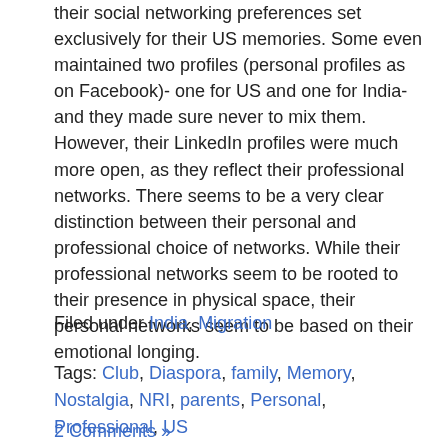their social networking preferences set exclusively for their US memories. Some even maintained two profiles (personal profiles as on Facebook)- one for US and one for India-and they made sure never to mix them. However, their LinkedIn profiles were much more open, as they reflect their professional networks. There seems to be a very clear distinction between their personal and professional choice of networks. While their professional networks seem to be rooted to their presence in physical space, their personal networks seem to be based on their emotional longing.
Filed under India, Migration
Tags: Club, Diaspora, family, Memory, Nostalgia, NRI, parents, Personal, Professional, US
2 Comments »